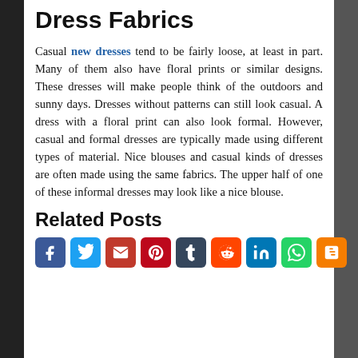Dress Fabrics
Casual new dresses tend to be fairly loose, at least in part. Many of them also have floral prints or similar designs. These dresses will make people think of the outdoors and sunny days. Dresses without patterns can still look casual. A dress with a floral print can also look formal. However, casual and formal dresses are typically made using different types of material. Nice blouses and casual kinds of dresses are often made using the same fabrics. The upper half of one of these informal dresses may look like a nice blouse.
Related Posts
[Figure (other): Social media sharing icons: Facebook, Twitter, Email, Pinterest, Tumblr, Reddit, LinkedIn, WhatsApp, Blogger]